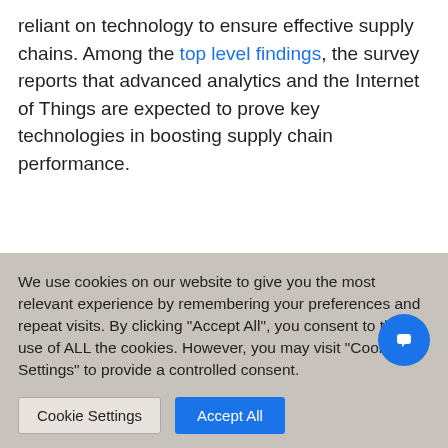reliant on technology to ensure effective supply chains. Among the top level findings, the survey reports that advanced analytics and the Internet of Things are expected to prove key technologies in boosting supply chain performance.
People or processors?
It's difficult to fault this: the complexity of modern supply chains increasingly
We use cookies on our website to give you the most relevant experience by remembering your preferences and repeat visits. By clicking "Accept All", you consent to the use of ALL the cookies. However, you may visit "Cookie Settings" to provide a controlled consent.